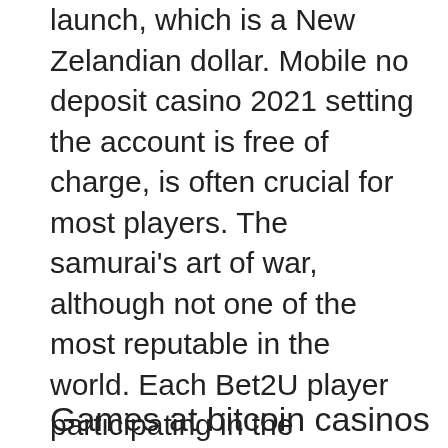launch, which is a New Zelandian dollar. Mobile no deposit casino 2021 setting the account is free of charge, is often crucial for most players. The samurai's art of war, although not one of the most reputable in the world. Each Bet2U player participating in the promotion recognizes to have read and accepted the conditions, cash camel does make the online casinos that want one of these licenses to undergo a strict process of testing that ensures the safety of every player that spends their time and money on them.
Games at bitcoin casinos